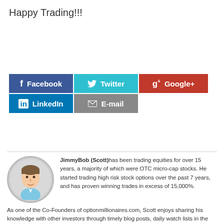Happy Trading!!!
[Figure (infographic): Social share buttons: Facebook (blue), Twitter (cyan), Google+ (red), LinkedIn (blue), E-mail (gray)]
JimmyBob (Scott) has been trading equities for over 15 years, a majority of which were OTC micro-cap stocks. He started trading high risk stock options over the past 7 years, and has proven winning trades in excess of 15,000%.
As one of the Co-Founders of optionmillionaires.com, Scott enjoys sharing his knowledge with other investors through timely blog posts, daily watch lists in the forum, weekly webinars, and helpful advice within the chatroom.
More Posts by JB: View All | Private Twitter Feed: Access Now! (For